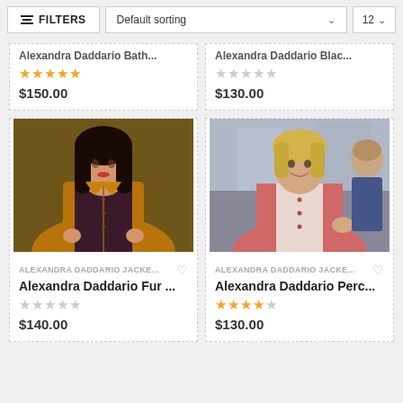FILTERS | Default sorting | 12
Alexandra Daddario Bath...
★★★★★ $150.00
Alexandra Daddario Blac...
☆☆☆☆☆ $130.00
[Figure (photo): Alexandra Daddario wearing a brown leather jacket over a dark plaid dress, with long dark hair, at a red carpet event]
ALEXANDRA DADDARIO JACKE... Alexandra Daddario Fur ... ☆☆☆☆☆ $140.00
[Figure (photo): Alexandra Daddario wearing a pink denim jacket over a plaid shirt, smiling outdoors with people in background]
ALEXANDRA DADDARIO JACKE... Alexandra Daddario Perc... ★★★★☆ $130.00